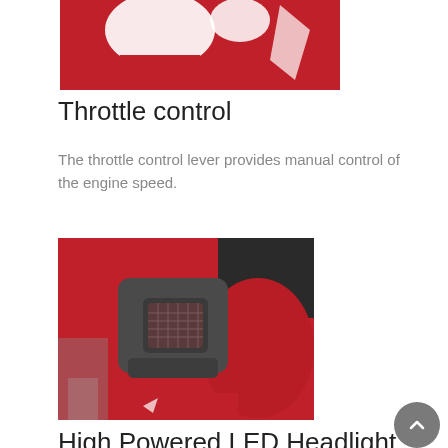[Figure (photo): Partial view of red snow blower throttle control area on red background, cropped at top]
Throttle control
The throttle control lever provides manual control of the engine speed.
[Figure (photo): Close-up photo of a high powered LED headlight on a red Honda HSS928 snow blower]
High Powered LED Headlight
A powerful built-in LED work light makes the HSS928 easy to use, even in the dark. Provides exceptional